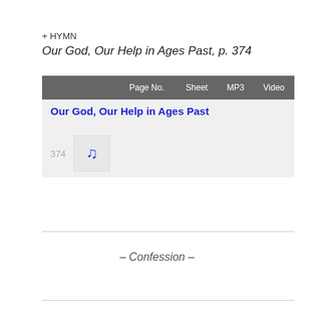+ HYMN
Our God, Our Help in Ages Past, p. 374
|  | Page No. | Sheet | MP3 | Video |
| --- | --- | --- | --- | --- |
| Our God, Our Help in Ages Past |  |  |  |  |
| 374 | [music icon] |  |  |  |
– Confession –